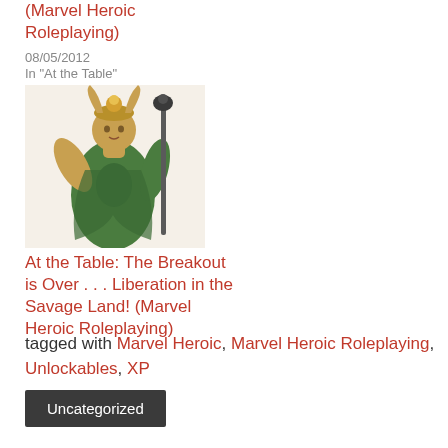(Marvel Heroic Roleplaying)
08/05/2012
In "At the Table"
[Figure (illustration): Comic book illustration of Loki, a villain with a green costume and golden horned helmet, holding a staff, with arms raised.]
At the Table: The Breakout is Over . . . Liberation in the Savage Land! (Marvel Heroic Roleplaying)
10/27/2012
In "At the Table"
tagged with Marvel Heroic, Marvel Heroic Roleplaying, Unlockables, XP
Uncategorized